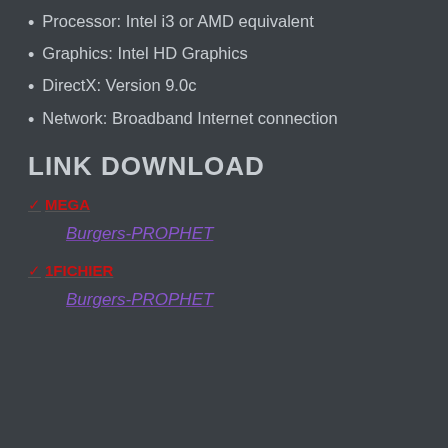Processor: Intel i3 or AMD equivalent
Graphics: Intel HD Graphics
DirectX: Version 9.0c
Network: Broadband Internet connection
LINK DOWNLOAD
✓ MEGA
Burgers-PROPHET
✓ 1FICHIER
Burgers-PROPHET